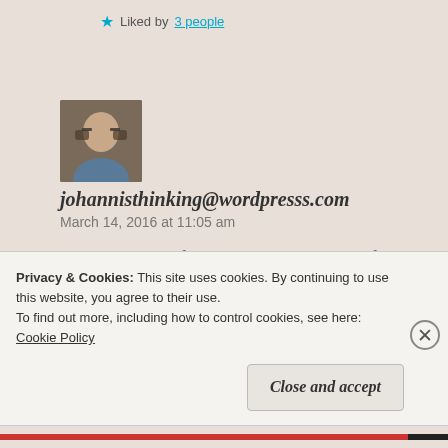Liked by 3 people
[Figure (photo): Avatar photo of a person wearing glasses, outdoors]
johannisthinking@wordpresss.com
March 14, 2016 at 11:05 am
...I am at a loss for words...reminds me of a response I received from a person I had known since I was 14...upon revealing to her WHO I
Privacy & Cookies: This site uses cookies. By continuing to use this website, you agree to their use.
To find out more, including how to control cookies, see here: Cookie Policy
Close and accept